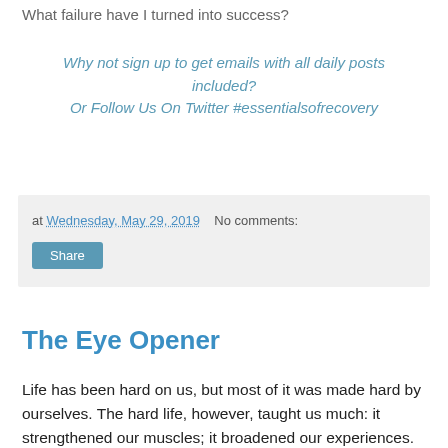What failure have I turned into success?
Why not sign up to get emails with all daily posts included?
Or Follow Us On Twitter #essentialsofrecovery
at Wednesday, May 29, 2019   No comments:
Share
The Eye Opener
Life has been hard on us, but most of it was made hard by ourselves. The hard life, however, taught us much: it strengthened our muscles; it broadened our experiences. We are better men because of it. We have known much of hunger, pain, defeat, mental anguish, despair and shame. Only the good survived this ordeal, and we can alleviate the